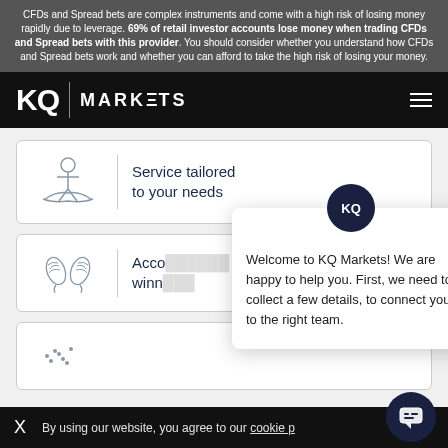CFDs and Spread bets are complex instruments and come with a high risk of losing money rapidly due to leverage. 69% of retail investor accounts lose money when trading CFDs and Spread bets with this provider. You should consider whether you understand how CFDs and Spread bets work and whether you can afford to take the high risk of losing your money.
[Figure (logo): KQ Markets logo on black navigation bar with hamburger menu icon]
[Figure (illustration): Icon of a person being held on a hand, representing tailored service]
Service tailored to your needs
[Figure (illustration): Two award/leaf icons representing accolades]
Acco... winn...
[Figure (infographic): KQ chat popup with welcome message: Welcome to KQ Markets! We are happy to help you. First, we need to collect a few details, to connect you to the right team.]
By using our website, you agree to our cookie p...